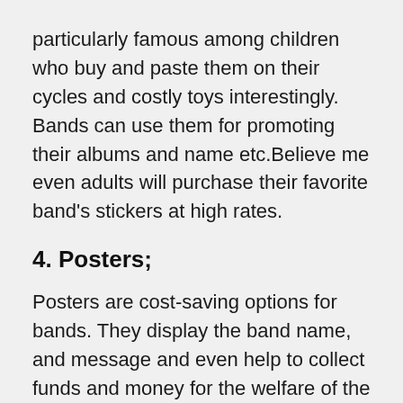particularly famous among children who buy and paste them on their cycles and costly toys interestingly. Bands can use them for promoting their albums and name etc.Believe me even adults will purchase their favorite band's stickers at high rates.
4. Posters;
Posters are cost-saving options for bands. They display the band name, and message and even help to collect funds and money for the welfare of the band. keep in mind that the band should consider all essential factors regarding posters carefully for achieving desired results and for neglecting any